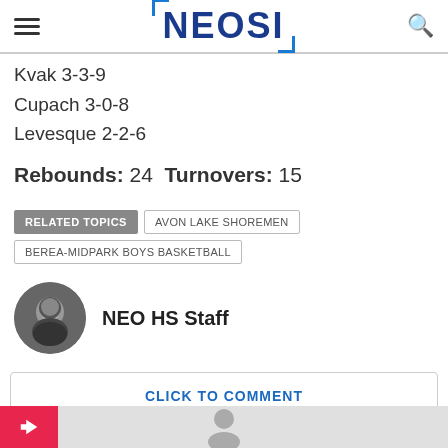NEOSI
Kvak 3-3-9
Cupach 3-0-8
Levesque 2-2-6
Rebounds: 24 Turnovers: 15
RELATED TOPICS | AVON LAKE SHOREMEN | BEREA-MIDPARK BOYS BASKETBALL
NEO HS Staff
CLICK TO COMMENT